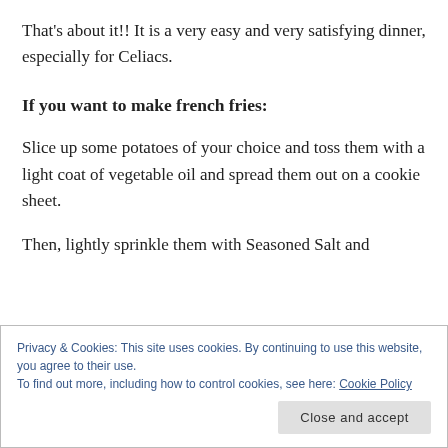That's about it!! It is a very easy and very satisfying dinner, especially for Celiacs.
If you want to make french fries:
Slice up some potatoes of your choice and toss them with a light coat of vegetable oil and spread them out on a cookie sheet.
Then, lightly sprinkle them with Seasoned Salt and
Privacy & Cookies: This site uses cookies. By continuing to use this website, you agree to their use.
To find out more, including how to control cookies, see here: Cookie Policy
Close and accept